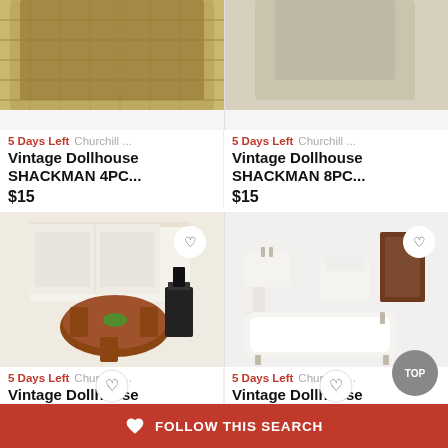[Figure (photo): Top portion of vintage dollhouse wicker/rattan furniture item, partially cropped at top]
[Figure (photo): Top portion of a second vintage dollhouse item, partially cropped at top]
5 Days Left  Churchill ...
5 Days Left  Churchill ...
Vintage Dollhouse SHACKMAN 4PC...
Vintage Dollhouse SHACKMAN 8PC...
$15
$15
[Figure (photo): Vintage dollhouse miniature kitchen/dining set with round table, chairs, stove, and wood-burning stove]
[Figure (photo): Vintage dollhouse miniature bathroom set with claw-foot bathtub, toilet, sink, and cabinet]
5 Days Left  Churchill ...
5 Days Left  Churchill ...
Vintage Dollhouse SHACKMAN 7PC
Vintage Dollhouse SHACKMAN 5PC...
$15
$15
♡  FOLLOW THIS SEARCH